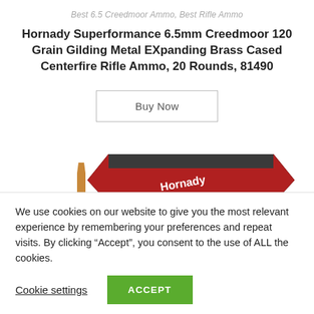Best 6.5 Creedmoor Ammo, Best Rifle Ammo
Hornady Superformance 6.5mm Creedmoor 120 Grain Gilding Metal EXpanding Brass Cased Centerfire Rifle Ammo, 20 Rounds, 81490
[Figure (photo): Product photo showing a rifle bullet and red Hornady ammunition box partially visible]
We use cookies on our website to give you the most relevant experience by remembering your preferences and repeat visits. By clicking “Accept”, you consent to the use of ALL the cookies.
Cookie settings | ACCEPT